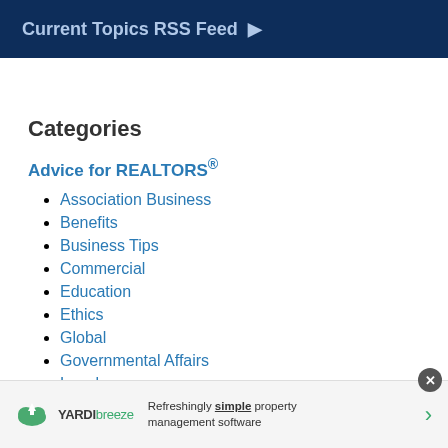Current Topics RSS Feed ▶
Categories
Advice for REALTORS®
Association Business
Benefits
Business Tips
Commercial
Education
Ethics
Global
Governmental Affairs
Legal
[Figure (infographic): Yardi Breeze advertisement banner: logo with cloud icon, brand name 'YARDIbreeze', tagline 'Refreshingly simple property management software' with green arrow, and close button]